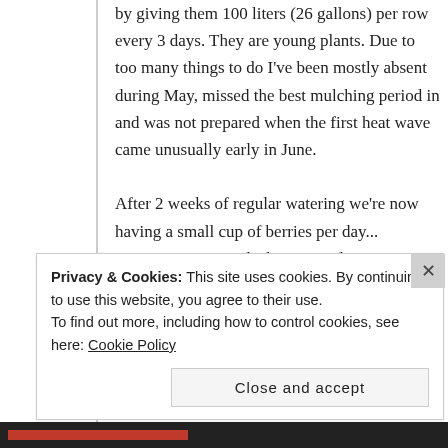by giving them 100 liters (26 gallons) per row every 3 days. They are young plants. Due to too many things to do I've been mostly absent during May, missed the best mulching period in and was not prepared when the first heat wave came unusually early in June.
After 2 weeks of regular watering we're now having a small cup of berries per day... From, as mentioned, about 200 plants, so
Privacy & Cookies: This site uses cookies. By continuing to use this website, you agree to their use.
To find out more, including how to control cookies, see here: Cookie Policy
Close and accept